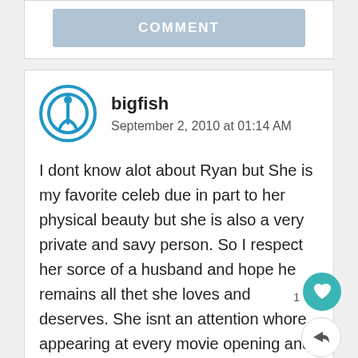COMMENT
bigfish
September 2, 2010 at 01:14 AM
I dont know alot about Ryan but She is my favorite celeb due in part to her physical beauty but she is also a very private and savy person. So I respect her sorce of a husband and hope he remains all thet she loves and deserves. She isnt an attention whore appearing at every movie opening and every Red